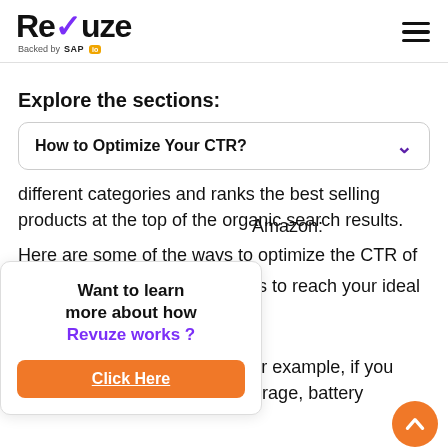[Figure (logo): Revuze logo with purple checkmark in 'v', backed by SAP IO badge below]
Explore the sections:
How to Optimize Your CTR?
different categories and ranks the best selling products at the top of the organic search results.
Here are some of the ways to optimize the CTR of
Amazon:
ds to reach your ideal
[Figure (infographic): Popup overlay: Want to learn more about how Revuze works? Click Here button in orange]
title. Add key details o
the product in the headline. For example, if you
sell mobile, then add RAM, storage, battery